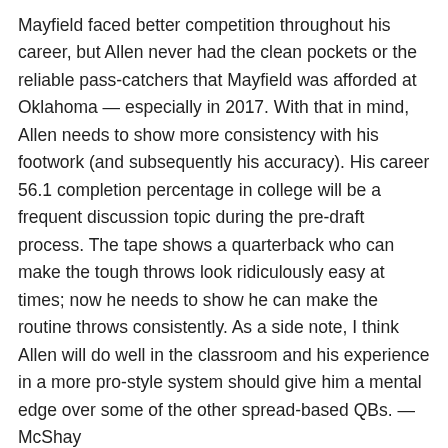Mayfield faced better competition throughout his career, but Allen never had the clean pockets or the reliable pass-catchers that Mayfield was afforded at Oklahoma — especially in 2017. With that in mind, Allen needs to show more consistency with his footwork (and subsequently his accuracy). His career 56.1 completion percentage in college will be a frequent discussion topic during the pre-draft process. The tape shows a quarterback who can make the tough throws look ridiculously easy at times; now he needs to show he can make the routine throws consistently. As a side note, I think Allen will do well in the classroom and his experience in a more pro-style system should give him a mental edge over some of the other spread-based QBs. — McShay
Elite Womens Michael Schofield Jersey
[Figure (other): Broken image placeholder followed by link text: Men's Reebok Auston Matthews Premier White Away NHL Jersey: Toronto Maple Leafs #34]
I'm actually more interested in seeing Mayfield's